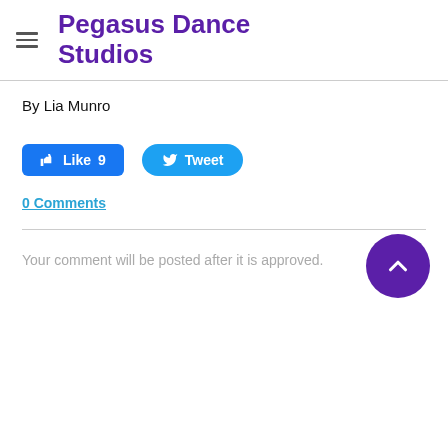Pegasus Dance Studios
By Lia Munro
[Figure (other): Facebook Like button showing 9 likes and Twitter Tweet button]
0 Comments
Your comment will be posted after it is approved.